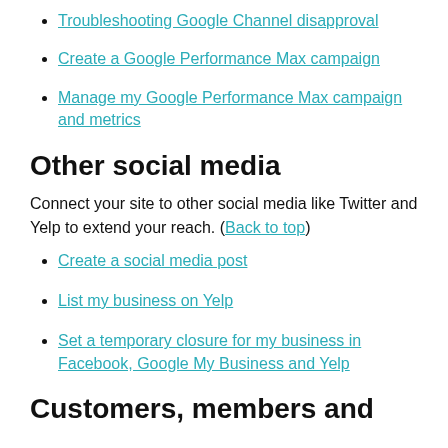Troubleshooting Google Channel disapproval
Create a Google Performance Max campaign
Manage my Google Performance Max campaign and metrics
Other social media
Connect your site to other social media like Twitter and Yelp to extend your reach. (Back to top)
Create a social media post
List my business on Yelp
Set a temporary closure for my business in Facebook, Google My Business and Yelp
Customers, members and